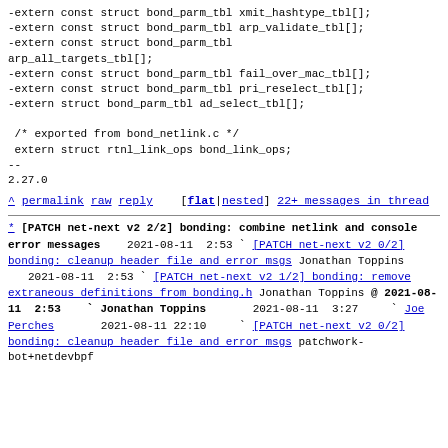-extern const struct bond_parm_tbl xmit_hashtype_tbl[];
-extern const struct bond_parm_tbl arp_validate_tbl[];
-extern const struct bond_parm_tbl
arp_all_targets_tbl[];
-extern const struct bond_parm_tbl fail_over_mac_tbl[];
-extern const struct bond_parm_tbl pri_reselect_tbl[];
-extern struct bond_parm_tbl ad_select_tbl[];

 /* exported from bond_netlink.c */
 extern struct rtnl_link_ops bond_link_ops;
--
2.27.0
^ permalink raw reply   [flat|nested] 22+ messages in thread
* [PATCH net-next v2 2/2] bonding: combine netlink and console error messages
  2021-08-11  2:53 ` [PATCH net-next v2 0/2] bonding: cleanup header file and error msgs Jonathan Toppins
  2021-08-11  2:53 ` [PATCH net-next v2 1/2] bonding: remove extraneous definitions from bonding.h Jonathan Toppins
@ 2021-08-11  2:53   ` Jonathan Toppins
  2021-08-11  3:27     ` Joe Perches
  2021-08-11 22:10     ` [PATCH net-next v2 0/2] bonding: cleanup header file and error msgs patchwork-bot+netdevbpf